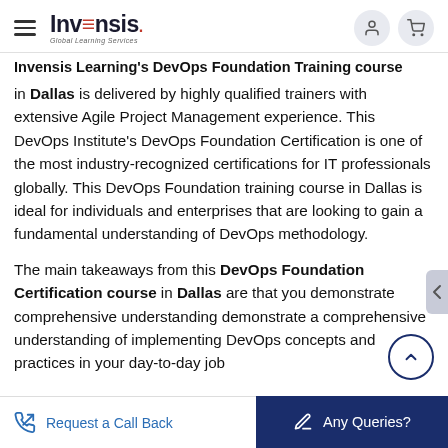Invensis — Global Learning Services header with hamburger menu, logo, user icon, cart icon
Invensis Learning's DevOps Foundation Training course in Dallas is delivered by highly qualified trainers with extensive Agile Project Management experience. This DevOps Institute's DevOps Foundation Certification is one of the most industry-recognized certifications for IT professionals globally. This DevOps Foundation training course in Dallas is ideal for individuals and enterprises that are looking to gain a fundamental understanding of DevOps methodology.
The main takeaways from this DevOps Foundation Certification course in Dallas are that you demonstrate comprehensive understanding demonstrate a comprehensive understanding of implementing DevOps concepts and practices in your day-to-day job
Request a Call Back | Any Queries?